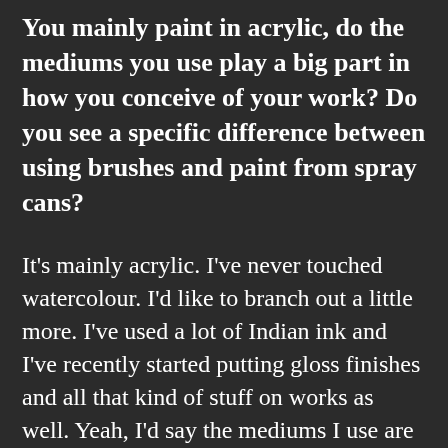You mainly paint in acrylic, do the mediums you use play a big part in how you conceive of your work? Do you see a specific difference between using brushes and paint from spray cans?
It's mainly acrylic. I've never touched watercolour. I'd like to branch out a little more. I've used a lot of Indian ink and I've recently started putting gloss finishes and all that kind of stuff on works as well. Yeah, I'd say the mediums I use are an important part of my work. I like acrylic because it is easy. Pretty much every can of spray paint is acrylic, so it goes hand in hand, it dries quickly, it's easy to use, all that kind of jazz. I guess I also like acrylic because it doesn't look like spray paint